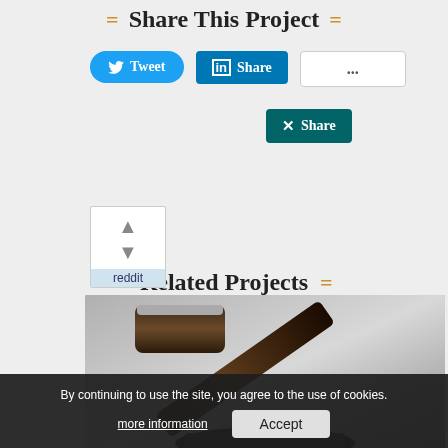= Share This Project =
[Figure (screenshot): Social share buttons: Tweet (Twitter), Share (LinkedIn), ... (more options), Share (XING), and Reddit voting widget]
= Related Projects =
[Figure (photo): Black and white photo of a judge's gavel]
By continuing to use the site, you agree to the use of cookies.
more information   Accept